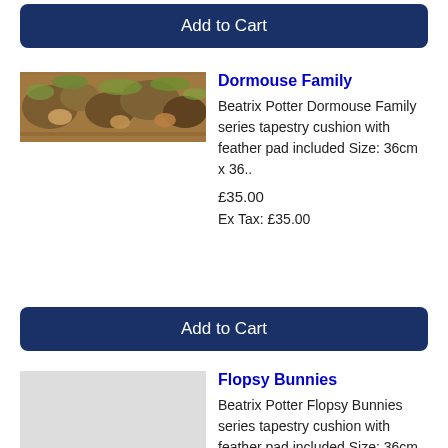[Figure (other): Add to Cart button for previous product (top of page)]
[Figure (photo): Dormouse Family tapestry cushion product image - horizontal strip showing illustrated animals and foliage in warm brown and green tones]
Dormouse Family
Beatrix Potter Dormouse Family series tapestry cushion with feather pad included Size: 36cm x 36..
£35.00
Ex Tax: £35.00
[Figure (other): Add to Cart button for Dormouse Family product]
Flopsy Bunnies
Beatrix Potter Flopsy Bunnies series tapestry cushion with feather pad included Size: 36cm x 36c..
£35.00